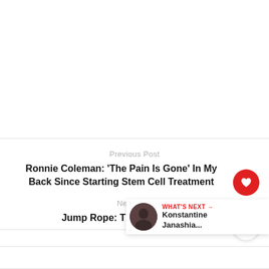Previous Post
Ronnie Coleman: ‘The Pain Is Gone’ In My Back Since Starting Stem Cell Treatment
Next Post
Jump Rope: The Ultimate Guide
WHAT’S NEXT → Konstantine Janashia...